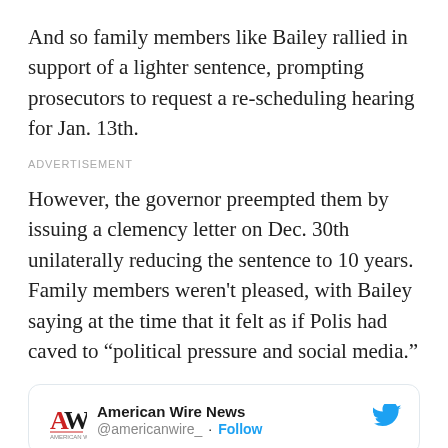And so family members like Bailey rallied in support of a lighter sentence, prompting prosecutors to request a re-scheduling hearing for Jan. 13th.
ADVERTISEMENT
However, the governor preempted them by issuing a clemency letter on Dec. 30th unilaterally reducing the sentence to 10 years. Family members weren't pleased, with Bailey saying at the time that it felt as if Polis had caved to “political pressure and social media.”
[Figure (other): Twitter/X card showing American Wire News account (@americanwire_) with Follow button and Twitter bird logo]